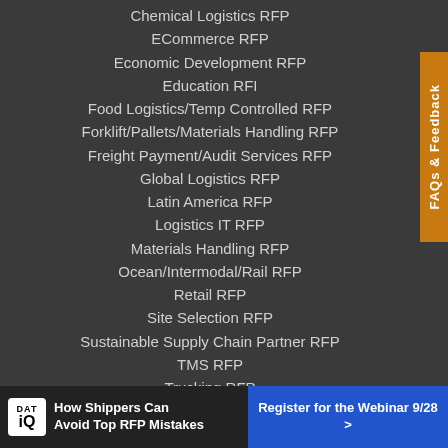Chemical Logistics RFP
ECommerce RFP
Economic Development RFP
Education RFI
Food Logistics/Temp Controlled RFP
Forklift/Pallets/Materials Handling RFP
Freight Payment/Audit Services RFP
Global Logistics RFP
Latin America RFP
Logistics IT RFP
Materials Handling RFP
Ocean/Intermodal/Rail RFP
Retail RFP
Site Selection RFP
Sustainable Supply Chain Partner RFP
TMS RFP
Trucking RFP
WMS RFP
Warehousing RFP
[Figure (infographic): DAT IQ advertisement banner: 'How Shippers Can Avoid Top RFP Mistakes' with 'Register for the Webinar 9/28 >' button]
[Figure (other): FAQs & Feedback vertical tab on the right side]